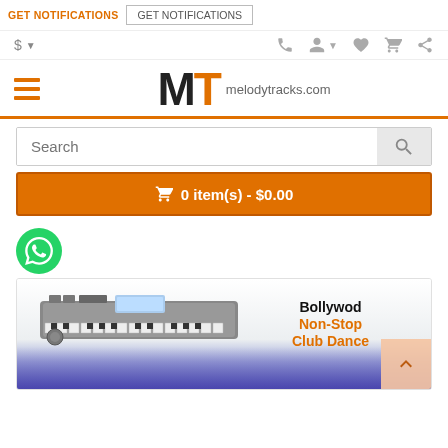GET NOTIFICATIONS  GET NOTIFICATIONS
[Figure (screenshot): Website header with dollar icon, phone, user, heart, cart, and share icons]
[Figure (logo): MT melodytracks.com logo with hamburger menu]
[Figure (screenshot): Search bar with magnifying glass icon]
🛒 0 item(s) - $0.00
[Figure (photo): WhatsApp green circle icon]
[Figure (photo): Bollywood keyboard and club dance product card with text: Bollywod Non-Stop Club Dance]